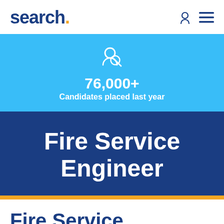search.
76,000+
Candidates placed last year
Fire Service Engineer
Fire Service